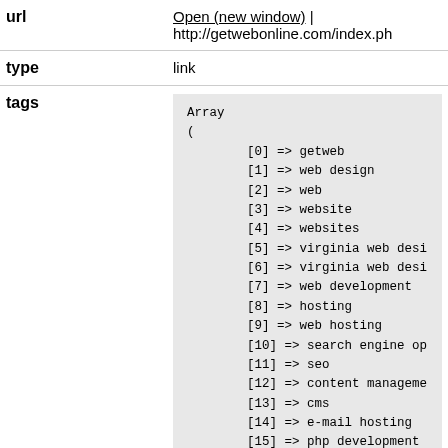| Field | Value |
| --- | --- |
| url | Open (new window) | http://getwebonline.com/index.ph |
| type | link |
| tags | Array
(
    [0] => getweb
    [1] => web design
    [2] => web
    [3] => website
    [4] => websites
    [5] => virginia web desi
    [6] => virginia web desi
    [7] => web development
    [8] => hosting
    [9] => web hosting
    [10] => search engine op
    [11] => seo
    [12] => content manageme
    [13] => cms
    [14] => e-mail hosting
    [15] => php development
    [16] => html5 developmen
    [17] => e-commerce appli
    [18] => e-commerce |